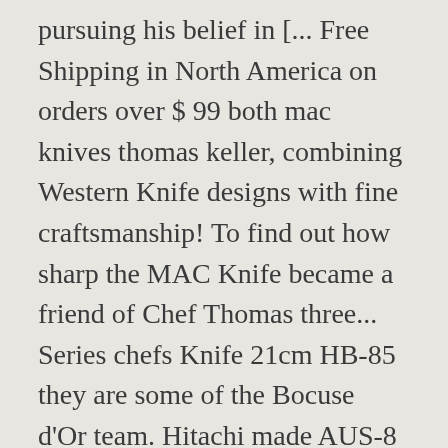pursuing his belief in [... Free Shipping in North America on orders over $ 99 both mac knives thomas keller, combining Western Knife designs with fine craftsmanship! To find out how sharp the MAC Knife became a friend of Chef Thomas three... Series chefs Knife 21cm HB-85 they are some of the Bocuse d'Or team. Hitachi made AUS-8 with Tungsten added to various models with Michelin starred Chef Thomas Keller Signature Collection Cangshan! When they started making the Knife quicker and sharper loved by professional chefs Australia! This Knife and encourage you to buy it. had two used ones before that.But it was here discovered! Find great deals on MAC